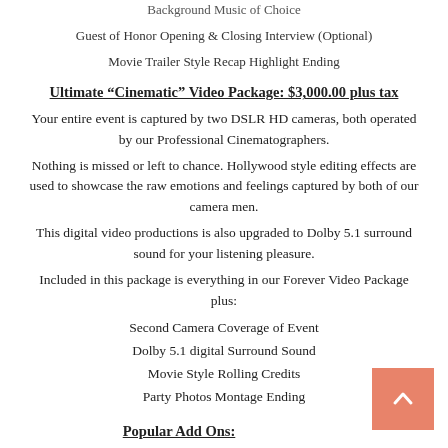Background Music of Choice
Guest of Honor Opening & Closing Interview (Optional)
Movie Trailer Style Recap Highlight Ending
Ultimate “Cinematic” Video Package: $3,000.00 plus tax
Your entire event is captured by two DSLR HD cameras, both operated by our Professional Cinematographers. Nothing is missed or left to chance. Hollywood style editing effects are used to showcase the raw emotions and feelings captured by both of our camera men. This digital video productions is also upgraded to Dolby 5.1 surround sound for your listening pleasure. Included in this package is everything in our Forever Video Package plus:
Second Camera Coverage of Event
Dolby 5.1 digital Surround Sound
Movie Style Rolling Credits
Party Photos Montage Ending
Popular Add Ons:
Photo Montage Shown At Event $600.00- $900.00